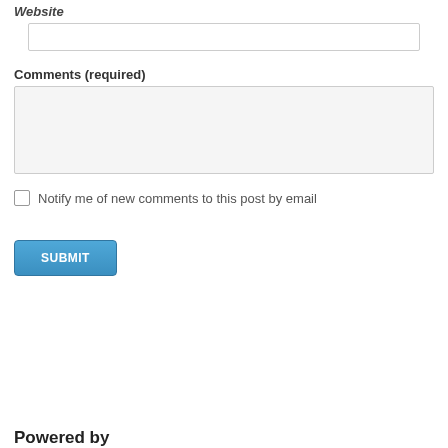Website
[input field]
Comments (required)
[textarea field]
Notify me of new comments to this post by email
SUBMIT
Powered by